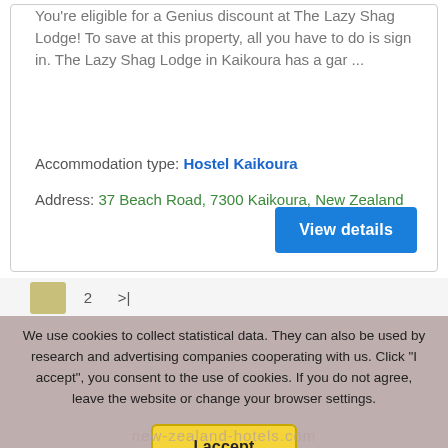You're eligible for a Genius discount at The Lazy Shag Lodge! To save at this property, all you have to do is sign in. The Lazy Shag Lodge in Kaikoura has a gar ...
Accommodation type: Hostel Kaikoura
Address: 37 Beach Road, 7300 Kaikoura, New Zealand
View details
2 >|
We use cookies to collect statistical data. They can also be used by research and advertising companies cooperating with us. Click "I accept", you consent to the use of cookies. If you do not agree, leave the website or change your browser settings.
I accept
new-zealand-hotels.com